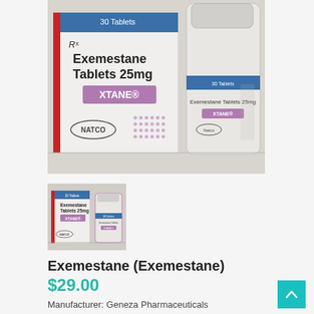[Figure (photo): Main product photo: Exemestane Tablets 25mg XTANE by NATCO — box and bottle on white surface]
[Figure (photo): Thumbnail: smaller version of Exemestane Tablets 25mg XTANE product photo]
Exemestane (Exemestane)
$29.00
Manufacturer: Geneza Pharmaceuticals
Category: Oral Steroids